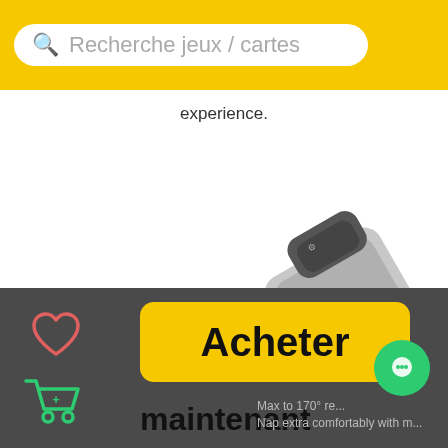Recherche jeux / cartes
experience.
[Figure (photo): Gaming chair shown in a reclined position, gray and dark gray/black color scheme, viewed from the side, product photo on white background]
Acheter maintenant
Max to 170° re... Nap extra comfortably with m...